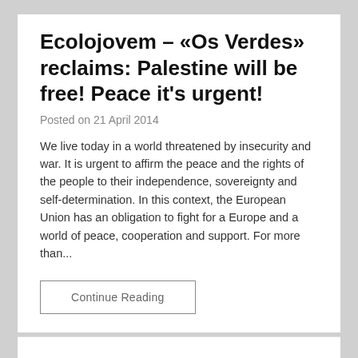Ecolojovem – «Os Verdes» reclaims: Palestine will be free! Peace it's urgent!
Posted on 21 April 2014
We live today in a world threatened by insecurity and war. It is urgent to affirm the peace and the rights of the people to their independence, sovereignty and self-determination. In this context, the European Union has an obligation to fight for a Europe and a world of peace, cooperation and support. For more than...
Continue Reading